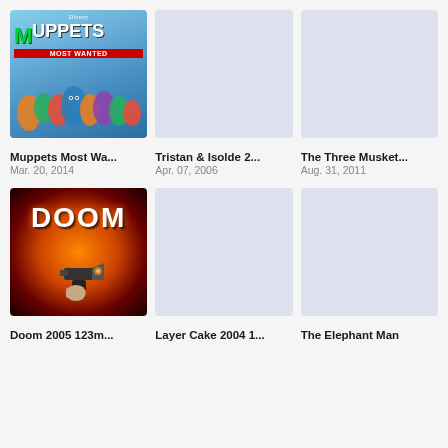[Figure (photo): Movie poster for Muppets Most Wanted (Disney), showing Muppet characters grouped together]
Muppets Most Wa...
Mar. 20, 2014
[Figure (photo): Movie poster placeholder (light blue-gray) for Tristan & Isolde 2...]
Tristan & Isolde 2...
Apr. 07, 2006
[Figure (photo): Movie poster placeholder (light blue-gray) for The Three Musket...]
The Three Musket...
Aug. 31, 2011
[Figure (photo): Movie poster for Doom (2005), showing explosive fiery background with a gun-wielding figure in foreground]
Doom 2005 123m...
[Figure (photo): Movie poster placeholder (light blue-gray) for Layer Cake 2004 1...]
Layer Cake 2004 1...
[Figure (photo): Movie poster placeholder (light blue-gray) for The Elephant Man]
The Elephant Man